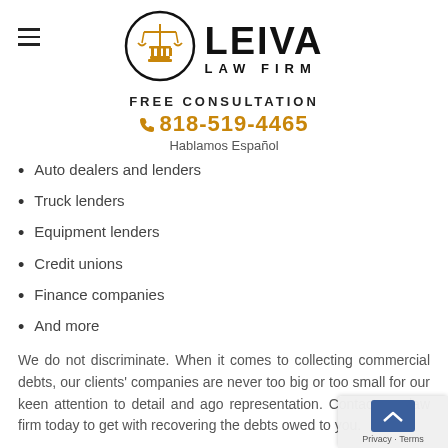[Figure (logo): Leiva Law Firm logo — circular emblem with gold scales of justice and courthouse column, with LEIVA in bold black and LAW FIRM in spaced caps]
FREE CONSULTATION
818-519-4465
Hablamos Español
Auto dealers and lenders
Truck lenders
Equipment lenders
Credit unions
Finance companies
And more
We do not discriminate. When it comes to collecting commercial debts, our clients' companies are never too big or too small for our keen attention to detail and aggressive representation. Contact our law firm today to get started with recovering the debts owed to you.